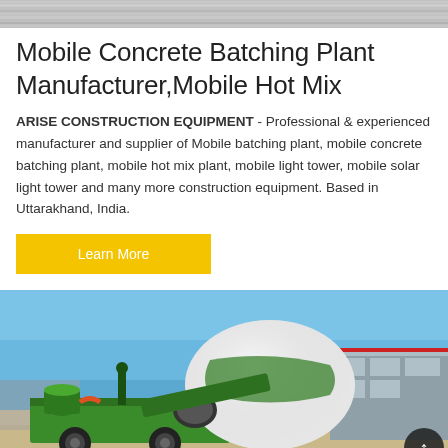[Figure (photo): Grayscale textured banner image at the top of the page, appears to be a concrete or gravel texture]
Mobile Concrete Batching Plant Manufacturer,Mobile Hot Mix
ARISE CONSTRUCTION EQUIPMENT - Professional & experienced manufacturer and supplier of Mobile batching plant, mobile concrete batching plant, mobile hot mix plant, mobile light tower, mobile solar light tower and many more construction equipment. Based in Uttarakhand, India.
Learn More
[Figure (photo): Photo of a green and white mobile concrete batching plant / transit mixer truck on an outdoor site under a blue sky, with industrial buildings in the background]